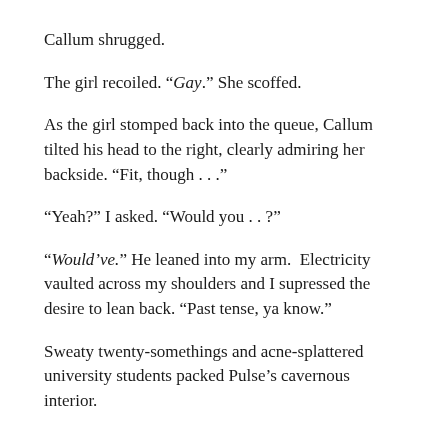Callum shrugged.
The girl recoiled. “Gay.” She scoffed.
As the girl stomped back into the queue, Callum tilted his head to the right, clearly admiring her backside. “Fit, though . . .”
“Yeah?” I asked. “Would you . . ?”
“Would’ve.” He leaned into my arm. Electricity vaulted across my shoulders and I supressed the desire to lean back. “Past tense, ya know.”
Sweaty twenty-somethings and acne-splattered university students packed Pulse’s cavernous interior.